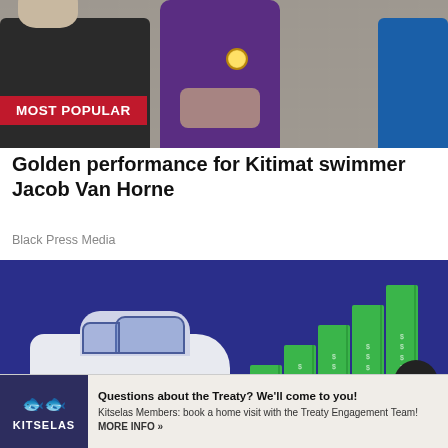[Figure (photo): Photo of a swimmer wearing a gold medal and purple shirt shaking hands, with 'MOST POPULAR' red badge overlay]
Golden performance for Kitimat swimmer Jacob Van Horne
Black Press Media
[Figure (illustration): Illustration of a white car next to stacks of green money bills on a dark blue background]
[Figure (illustration): Kitselas banner ad: 'Questions about the Treaty? We'll come to you! Kitselas Members: book a home visit with the Treaty Engagement Team! MORE INFO »']